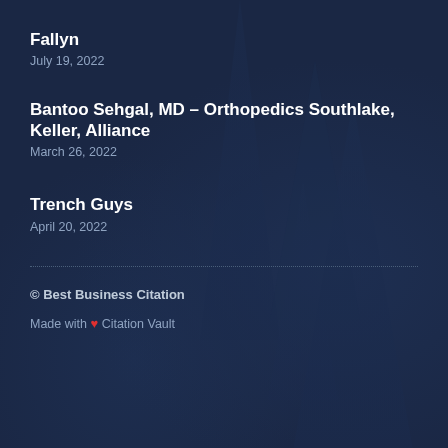Fallyn
July 19, 2022
Bantoo Sehgal, MD – Orthopedics Southlake, Keller, Alliance
March 26, 2022
Trench Guys
April 20, 2022
© Best Business Citation
Made with ❤ Citation Vault